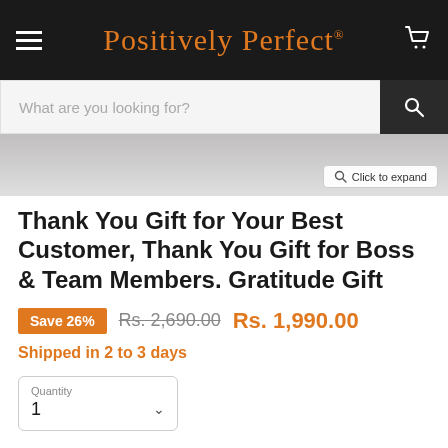Positively Perfect®
What are you looking for?
[Figure (photo): Partial product image with Click to expand button]
Thank You Gift for Your Best Customer, Thank You Gift for Boss & Team Members. Gratitude Gift
Save 26%  Rs. 2,690.00  Rs. 1,990.00
Shipped in 2 to 3 days
Quantity 1